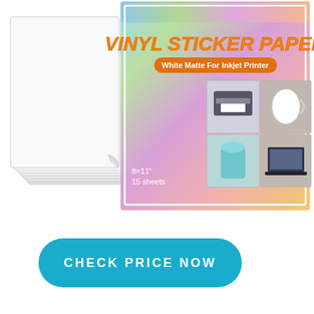[Figure (photo): Product image showing vinyl sticker paper: stacked white matte sheets on the left with a curled corner on the top sheet, and the product packaging box on the right with rainbow gradient background, bold orange text 'VINYL STICKER PAPER', subtitle 'White Matte For Inkjet Printer', and four usage photos showing a printer, decorated mug, ice cream cup, and laptop.]
CHECK PRICE NOW